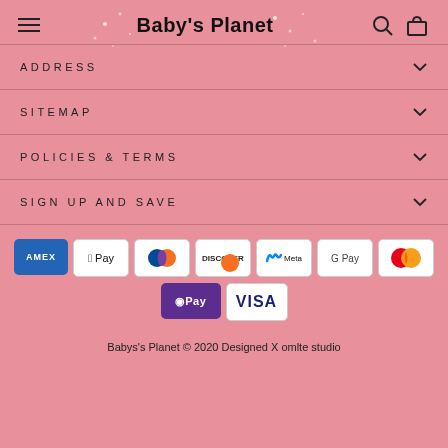Baby's Planet
ADDRESS
SITEMAP
POLICIES & TERMS
SIGN UP AND SAVE
[Figure (other): Payment method logos: AMEX, Apple Pay, Diners Club, Discover, Meta Pay, Google Pay, Mastercard, O Pay, Visa]
Babys's Planet © 2020 Designed X omlte studio